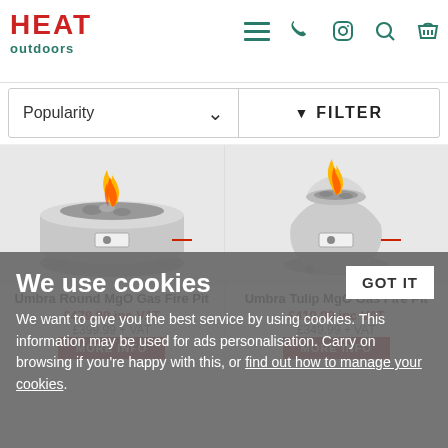[Figure (logo): HEAT outdoors logo — red HEAT text, teal outdoors text]
[Figure (screenshot): Navigation icons: hamburger menu, phone, Instagram, search, basket — all in teal]
Popularity ∨
▼ FILTER
[Figure (photo): Umbra Round MgO Gas Fire Pit — round grey concrete fire pit with lit flame]
[Figure (photo): Umbra Tulip MgO Gas Fire Pit — tall cylindrical grey concrete fire pit with lit flame]
Umbra Round MgO Gas Fire Pit
£479.99 inc VAT
£399.99 + VAT
MORE INFO
Umbra Tulip MgO Gas Fire Pit
£419.99 inc VAT
£349.99 + VAT
MORE INFO
We use cookies
We want to give you the best service by using cookies. This information may be used for ads personalisation. Carry on browsing if you're happy with this, or find out how to manage your cookies.
GOT IT